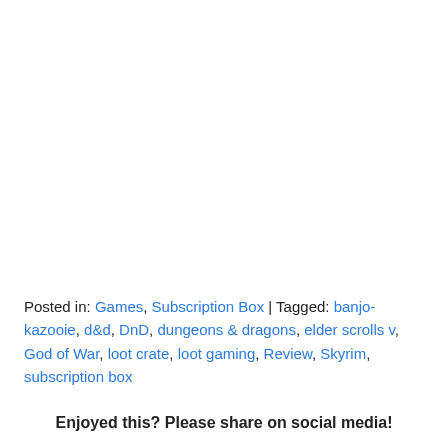Posted in: Games, Subscription Box | Tagged: banjo-kazooie, d&d, DnD, dungeons & dragons, elder scrolls v, God of War, loot crate, loot gaming, Review, Skyrim, subscription box
Enjoyed this? Please share on social media!